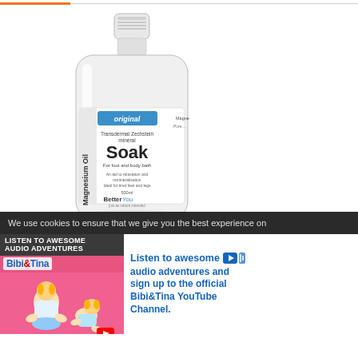[Figure (photo): Bottle of BetterYou Magnesium Oil Original Transdermal Zechstein mineral Soak for foot and body bath, 500ml, with white cap and clear bottle body.]
[Figure (screenshot): Cookie consent notification bar at bottom of webpage: 'We use cookies to ensure that we give you the best experience on']
[Figure (photo): Bibi&Tina advertisement banner: 'Listen to awesome audio adventures and sign up to the official Bibi&Tina YouTube Channel.' with animated girl illustration on pink background.]
Ad